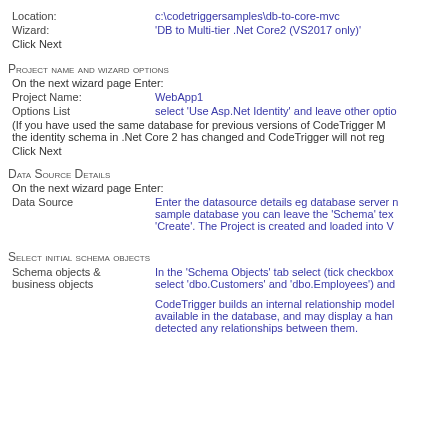Location: c:\codetriggersamples\db-to-core-mvc
Wizard: 'DB to Multi-tier .Net Core2 (VS2017 only)'
Click Next
Project name and wizard options
On the next wizard page Enter:
Project Name: WebApp1
Options List select 'Use Asp.Net Identity' and leave other options
(If you have used the same database for previous versions of CodeTrigger M... the identity schema in .Net Core 2 has changed and CodeTrigger will not reg...
Click Next
Data Source Details
On the next wizard page Enter:
Data Source Enter the datasource details eg database server n... sample database you can leave the 'Schema' tex... 'Create'. The Project is created and loaded into V...
Select initial schema objects
Schema objects & business objects In the 'Schema Objects' tab select (tick checkbox... select 'dbo.Customers' and 'dbo.Employees') and...
CodeTrigger builds an internal relationship model... available in the database, and may display a han... detected any relationships between them.